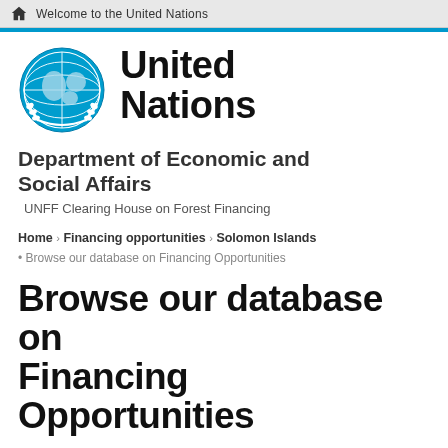Welcome to the United Nations
[Figure (logo): United Nations emblem logo in blue, showing globe and olive branches]
United Nations
Department of Economic and Social Affairs
UNFF Clearing House on Forest Financing
Home › Financing opportunities › Solomon Islands
• Browse our database on Financing Opportunities
Browse our database on Financing Opportunities